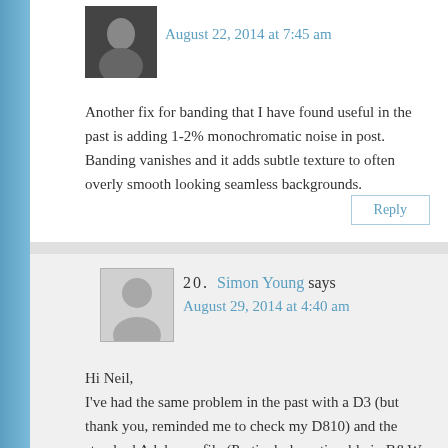[Figure (photo): Small dark avatar photo of commenter]
August 22, 2014 at 7:45 am
Another fix for banding that I have found useful in the past is adding 1-2% monochromatic noise in post. Banding vanishes and it adds subtle texture to often overly smooth looking seamless backgrounds.
Reply
[Figure (illustration): Generic user silhouette avatar placeholder]
20.  Simon Young says
August 29, 2014 at 4:40 am
Hi Neil,
I've had the same problem in the past with a D3 (but thank you, reminded me to check my D810) and the standard Adobe profile (Particularly noticeable in B&Ws that have been pulled around a bit). The only way around it was to create a camera specific profile using a Gretag CC24. Smooth transitions all the way after that. Every camera is